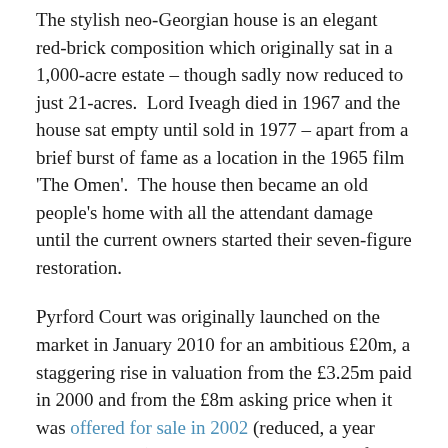The stylish neo-Georgian house is an elegant red-brick composition which originally sat in a 1,000-acre estate – though sadly now reduced to just 21-acres.  Lord Iveagh died in 1967 and the house sat empty until sold in 1977 – apart from a brief burst of fame as a location in the 1965 film 'The Omen'.  The house then became an old people's home with all the attendant damage until the current owners started their seven-figure restoration.
Pyrford Court was originally launched on the market in January 2010 for an ambitious £20m, a staggering rise in valuation from the £3.25m paid in 2000 and from the £8m asking price when it was offered for sale in 2002 (reduced, a year later, to £6.5m).  Yet this proved too much for the market to take; even for a 'super-prime' house within 25 miles of central London, and despite the high-quality restoration of the impressive interiors.  It subsequently